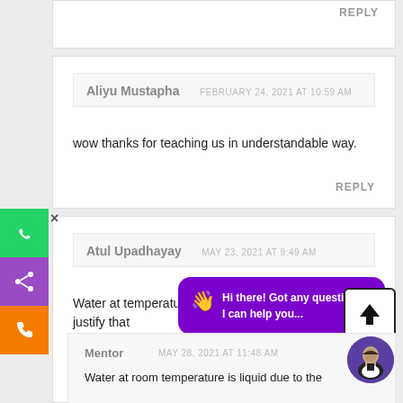REPLY
Aliyu Mustapha
FEBRUARY 24, 2021 AT 10:59 AM
wow thanks for teaching us in understandable way.
REPLY
Atul Upadhayay
MAY 23, 2021 AT 9:49 AM
Water at temperature is a liquid give the reason to justify that
[Figure (screenshot): Purple chat bubble with waving hand emoji: 'Hi there! Got any questions? I can help you...']
[Figure (illustration): Upload arrow button (black arrow pointing up in white square with black border)]
Mentor
MAY 28, 2021 AT 11:48 AM
Water at room temperature is liquid due to the
[Figure (photo): Circular avatar photo of a man in a suit, purple background]